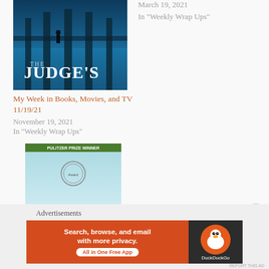[Figure (photo): Book cover for 'The Judge's' showing a dark pier scene with a figure silhouetted against blue water and pillars]
My Week in Books, Movies, and TV 11/19/21
November 19, 2021
In "Weekly Wrap Ups"
March 19, 2021
In "Weekly Wrap Ups"
[Figure (photo): Book cover for 'Summerland' showing a turquoise sky background with a silver Airstream trailer on a desert landscape]
My Week in Books, Movies, and TV 6/24/22
June 24, 2022
In "Weekly Wrap Ups"
Advertisements
[Figure (other): DuckDuckGo advertisement banner: 'Search, browse, and email with more privacy. All in One Free App' with orange/dark background and DuckDuckGo logo]